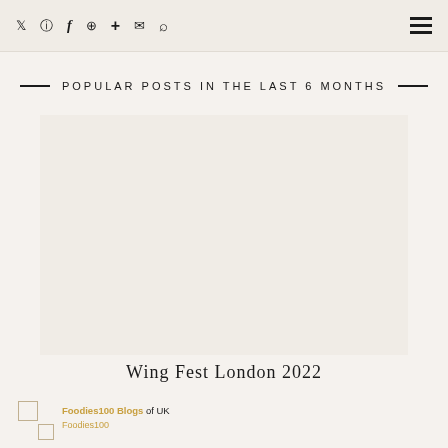Social icons: Twitter, Instagram, Facebook, Pinterest, Plus, Mail, Search; Hamburger menu
POPULAR POSTS IN THE LAST 6 MONTHS
[Figure (photo): Placeholder image area for Wing Fest London 2022 post thumbnail]
Wing Fest London 2022
Foodies100 Blogs of UK Foodies100